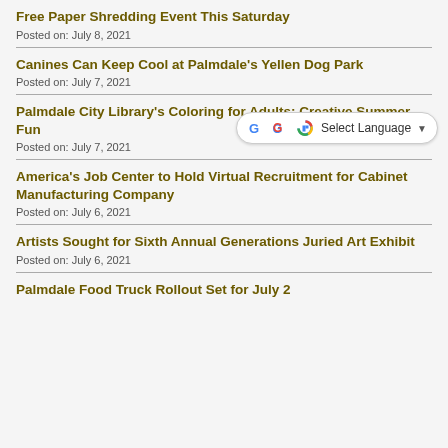Free Paper Shredding Event This Saturday
Posted on: July 8, 2021
Canines Can Keep Cool at Palmdale's Yellen Dog Park
Posted on: July 7, 2021
Palmdale City Library's Coloring for Adults: Creative Summer Fun
Posted on: July 7, 2021
America's Job Center to Hold Virtual Recruitment for Cabinet Manufacturing Company
Posted on: July 6, 2021
Artists Sought for Sixth Annual Generations Juried Art Exhibit
Posted on: July 6, 2021
Palmdale Food Truck Rollout Set for July 2